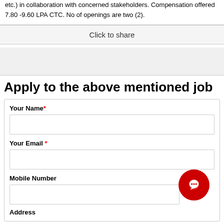etc.) in collaboration with concerned stakeholders. Compensation offered 7.80 -9.60 LPA CTC. No of openings are two (2).
Click to share
Apply to the above mentioned job
Your Name*
Your Email *
Mobile Number
Address